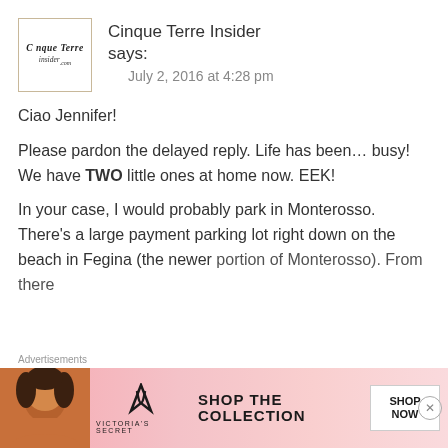[Figure (logo): Cinque Terre Insider logo in a beige-bordered square box]
Cinque Terre Insider says:
July 2, 2016 at 4:28 pm
Ciao Jennifer!
Please pardon the delayed reply. Life has been… busy! We have TWO little ones at home now. EEK!
In your case, I would probably park in Monterosso. There's a large payment parking lot right down on the beach in Fegina (the newer portion of Monterosso). From there
Advertisements
[Figure (screenshot): Victoria's Secret advertisement banner with pink background, a woman's face on the left, VS logo, and 'SHOP THE COLLECTION' text with a 'SHOP NOW' button]